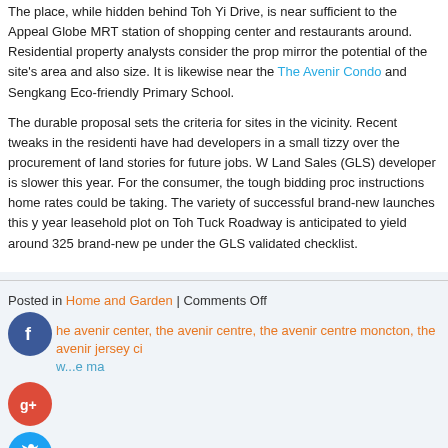The place, while hidden behind Toh Yi Drive, is near sufficient to the Appeal Globe MRT station of shopping center and restaurants around. Residential property analysts consider the prop mirror the potential of the site's area and also size. It is likewise near the The Avenir Condo and Sengkang Eco-friendly Primary School.
The durable proposal sets the criteria for sites in the vicinity. Recent tweaks in the residential have had developers in a small tizzy over the procurement of land stories for future jobs. W Land Sales (GLS) developer is slower this year. For the consumer, the tough bidding proc instructions home rates could be taking. The variety of successful brand-new launches this y year leasehold plot on Toh Tuck Roadway is anticipated to yield around 325 brand-new pe under the GLS validated checklist.
Posted in Home and Garden | Comments Off
Tags: the avenir center, the avenir centre, the avenir centre moncton, the avenir jersey ci w...e ma
[Figure (logo): Facebook social share button - dark blue circle with white F icon]
[Figure (logo): Google Plus social share button - red circle with white G+ icon]
[Figure (logo): Twitter social share button - blue circle with white bird icon]
[Figure (logo): Add/share button - dark blue circle with white plus icon]